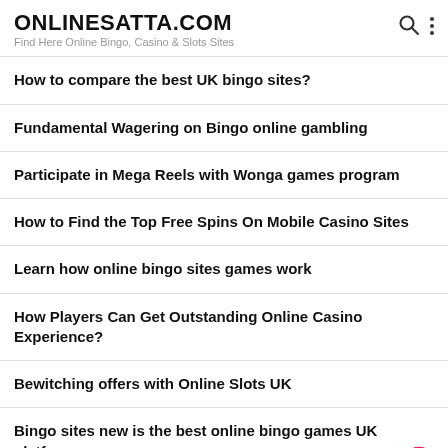ONLINESATTA.COM
Find Here Online Bingo, Casino & Slots Sites
How to compare the best UK bingo sites?
Fundamental Wagering on Bingo online gambling
Participate in Mega Reels with Wonga games program
How to Find the Top Free Spins On Mobile Casino Sites
Learn how online bingo sites games work
How Players Can Get Outstanding Online Casino Experience?
Bewitching offers with Online Slots UK
Bingo sites new is the best online bingo games UK platform
Top 10 reasons based bingo to online bingo sites